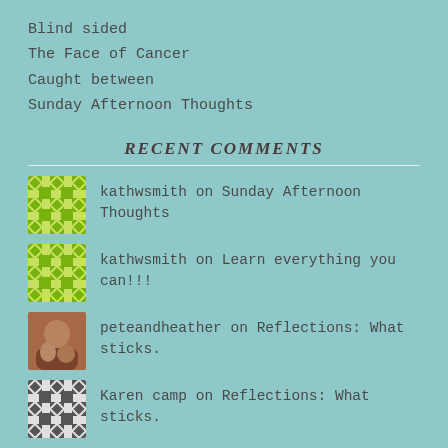Blind sided
The Face of Cancer
Caught between
Sunday Afternoon Thoughts
RECENT COMMENTS
kathwsmith on Sunday Afternoon Thoughts
kathwsmith on Learn everything you can!!!
peteandheather on Reflections: What sticks.
Karen camp on Reflections: What sticks.